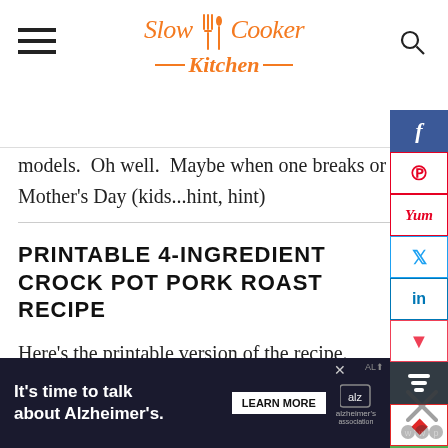Slow Cooker Kitchen
models.  Oh well.  Maybe when one breaks or Mother's Day (kids...hint, hint)
PRINTABLE 4-INGREDIENT CROCK POT PORK ROAST RECIPE
Here's the printable version of the recipe.  Hop on over to the facebook page and let us know what you use it to make.  There's no telling what you'll come up
[Figure (screenshot): Ad banner: It's time to talk about Alzheimer's. LEARN MORE. Alzheimer's Association logo.]